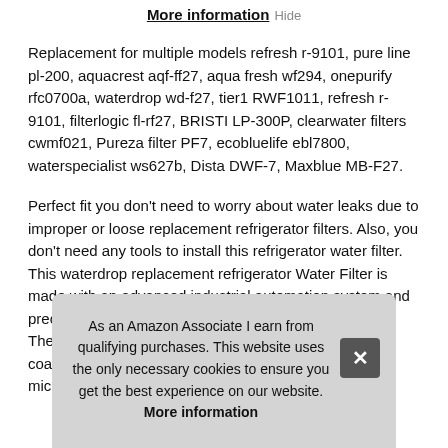More information
Replacement for multiple models refresh r-9101, pure line pl-200, aquacrest aqf-ff27, aqua fresh wf294, onepurify rfc0700a, waterdrop wd-f27, tier1 RWF1011, refresh r-9101, filterlogic fl-rf27, BRISTI LP-300P, clearwater filters cwmf021, Pureza filter PF7, ecobluelife ebl7800, waterspecialist ws627b, Dista DWF-7, Maxblue MB-F27.
Perfect fit you don't need to worry about water leaks due to improper or loose replacement refrigerator filters. Also, you don't need any tools to install this refrigerator water filter. This waterdrop replacement refrigerator Water Filter is made with an advanced industrial automation system and precision mea...The...coa...mic...
As an Amazon Associate I earn from qualifying purchases. This website uses the only necessary cookies to ensure you get the best experience on our website. More information